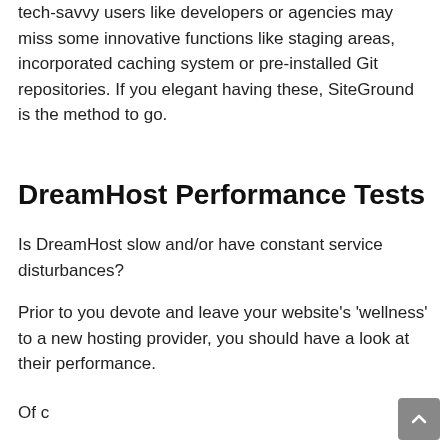tech-savvy users like developers or agencies may miss some innovative functions like staging areas, incorporated caching system or pre-installed Git repositories. If you elegant having these, SiteGround is the method to go.
DreamHost Performance Tests
Is DreamHost slow and/or have constant service disturbances?
Prior to you devote and leave your website's 'wellness' to a new hosting provider, you should have a look at their performance.
Of course, I don't expect you to have time to go and test 5